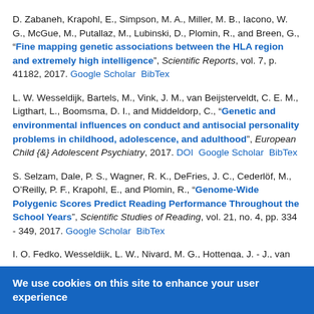D. Zabaneh, Krapohl, E., Simpson, M. A., Miller, M. B., Iacono, W. G., McGue, M., Putallaz, M., Lubinski, D., Plomin, R., and Breen, G., "Fine mapping genetic associations between the HLA region and extremely high intelligence", Scientific Reports, vol. 7, p. 41182, 2017. Google Scholar BibTex
L. W. Wesseldijk, Bartels, M., Vink, J. M., van Beijsterveldt, C. E. M., Ligthart, L., Boomsma, D. I., and Middeldorp, C., "Genetic and environmental influences on conduct and antisocial personality problems in childhood, adolescence, and adulthood", European Child {&} Adolescent Psychiatry, 2017. DOI Google Scholar BibTex
S. Selzam, Dale, P. S., Wagner, R. K., DeFries, J. C., Cederlöf, M., O'Reilly, P. F., Krapohl, E., and Plomin, R., "Genome-Wide Polygenic Scores Predict Reading Performance Throughout the School Years", Scientific Studies of Reading, vol. 21, no. 4, pp. 334 - 349, 2017. Google Scholar BibTex
I. O. Fedko, Wesseldijk, L. W., Nivard, M. G., Hottenga, J. - J., van Beijsterveldt, C. E. M., Middeldorp, C., Bartels, M., and Boomsma, D. I., ...
We use cookies on this site to enhance your user experience